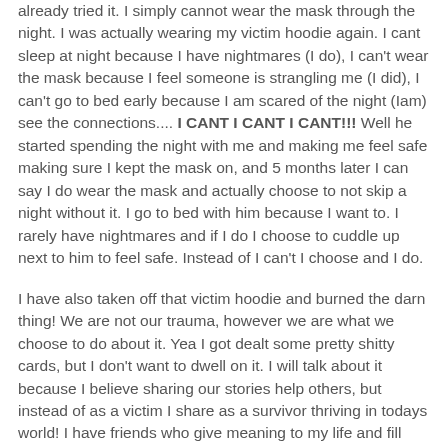already tried it. I simply cannot wear the mask through the night. I was actually wearing my victim hoodie again. I cant sleep at night because I have nightmares (I do), I can't wear the mask because I feel someone is strangling me (I did), I can't go to bed early because I am scared of the night (Iam) see the connections.... I CANT I CANT I CANT!!! Well he started spending the night with me and making me feel safe making sure I kept the mask on, and 5 months later I can say I do wear the mask and actually choose to not skip a night without it. I go to bed with him because I want to. I rarely have nightmares and if I do I choose to cuddle up next to him to feel safe. Instead of I can't I choose and I do.
I have also taken off that victim hoodie and burned the darn thing! We are not our trauma, however we are what we choose to do about it. Yea I got dealt some pretty shitty cards, but I don't want to dwell on it. I will talk about it because I believe sharing our stories help others, but instead of as a victim I share as a survivor thriving in todays world! I have friends who give meaning to my life and fill